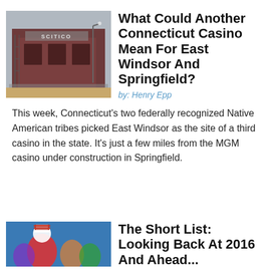[Figure (photo): Exterior photo of a building with a maroon/dark red facade, scaffolding, and a sign reading 'Scitico' or similar, taken on an overcast day.]
What Could Another Connecticut Casino Mean For East Windsor And Springfield?
by: Henry Epp
This week, Connecticut's two federally recognized Native American tribes picked East Windsor as the site of a third casino in the state. It's just a few miles from the MGM casino under construction in Springfield.
[Figure (photo): Partial photo visible at bottom of page, showing colorful figures possibly related to a parade or public event against a blue sky.]
The Short List: Looking Back At 2016 And Ahead...